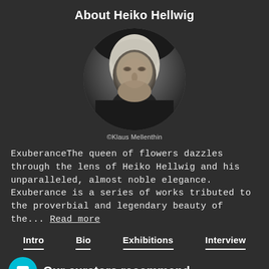About Heiko Hellwig
[Figure (photo): Black and white circular portrait photo of Heiko Hellwig, an older man with light hair, looking directly at camera. Photo credit: ©Klaus Mellenthin]
©Klaus Mellenthin
ExuberanceThe queen of flowers dazzles through the lens of Heiko Hellwig and his unparalleled, almost noble elegance. Exuberance is a series of works tributed to the proverbial and legendary beauty of the... Read more
Intro
Bio
Exhibitions
Interview
Our curators recommend